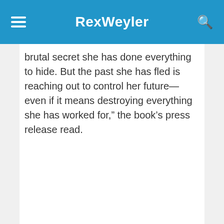RexWeyler
brutal secret she has done everything to hide. But the past she has fled is reaching out to control her future—even if it means destroying everything she has worked for,” the book’s press release read.